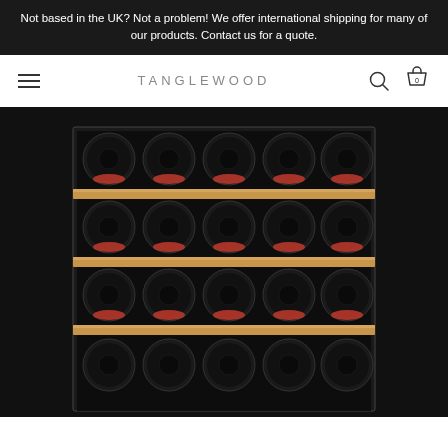Not based in the UK? Not a problem! We offer international shipping for many of our products. Contact us for a quote.
TANGLEWOOD
[Figure (photo): A wine cooler refrigerator with multiple wooden shelves holding wine bottles arranged with their bases facing forward, set against a black background. The bottles are visible in four rows, each row showing 4-5 bottle bases with red foil caps.]